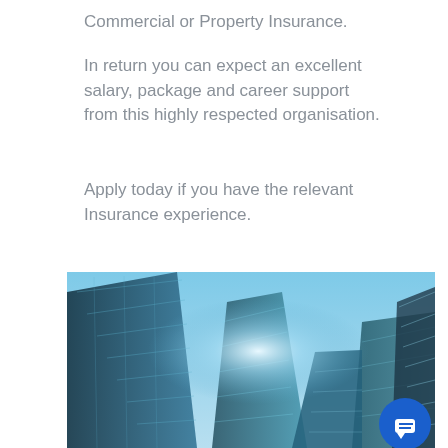Commercial or Property Insurance.
In return you can expect an excellent salary, package and career support from this highly respected organisation.
Apply today if you have the relevant Insurance experience.
[Figure (photo): Upward-looking view of modern glass skyscrapers against a blue sky with a bright light flare at the center, teal/blue toned photograph of tall commercial buildings]